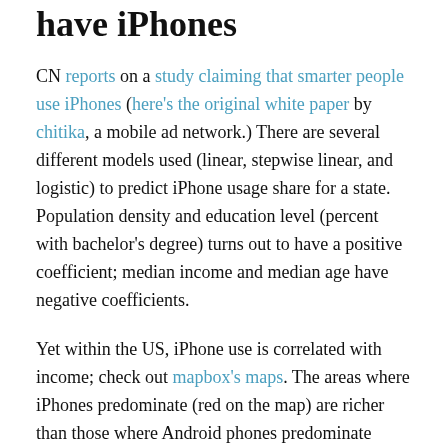have iPhones
CN reports on a study claiming that smarter people use iPhones (here's the original white paper by chitika, a mobile ad network.) There are several different models used (linear, stepwise linear, and logistic) to predict iPhone usage share for a state. Population density and education level (percent with bachelor's degree) turns out to have a positive coefficient; median income and median age have negative coefficients.
Yet within the US, iPhone use is correlated with income; check out mapbox's maps. The areas where iPhones predominate (red on the map) are richer than those where Android phones predominate (green on the map). This is a textbook example of the ecological